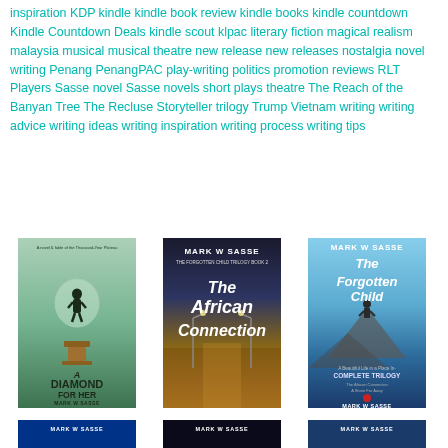inspiration KDP kindle kindle book review kindle books kindle countdown Kindle Countdown Deals kindle scout klpac literary fiction magical realism malaysia musical musical theatre new release new releases nostalgia novel writing Penang PenangPAC play-writing politics promotion reviews RLT Players Sasse novel Sasse novels short plays theatre The Reach of the Banyan Tree The Recluse Storyteller trilogy Trump Vietnam writing writing advice writing ideas writing inspiration writing process writing tips
[Figure (photo): Book cover: A Diamond for Her by Mark W Sasse - green toned cover with silhouette figure on pedestal]
[Figure (photo): Book cover: The African Connection by Mark W Sasse - The Forgotten Child Trilogy Book 2, dark cover with desert road scene]
[Figure (photo): Book cover: The Forgotten Child by Mark W Sasse - Complete Trilogy, blue sky with figure on rocky hill]
[Figure (photo): Partial book cover bottom strip - Mark W Sasse, blue toned]
[Figure (photo): Partial book cover bottom strip - Mark W Sasse, dark/space toned]
[Figure (photo): Partial book cover bottom strip - Mark W Sasse, blue toned]